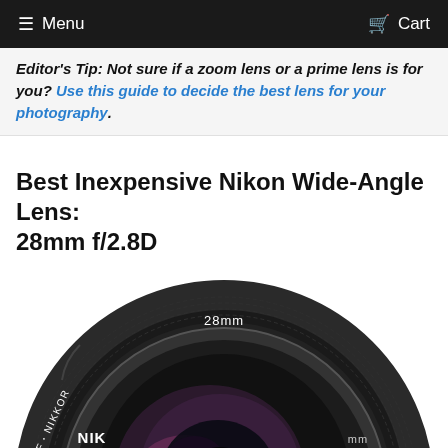Menu   Cart
Editor's Tip: Not sure if a zoom lens or a prime lens is for you? Use this guide to decide the best lens for your photography.
Best Inexpensive Nikon Wide-Angle Lens: 28mm f/2.8D
[Figure (photo): Close-up photo of a Nikon AF Nikkor 28mm f/2.8D camera lens from the front, showing the lens glass elements with a purple-pink tint, rubber focus ring with diamond texture pattern, and text '28mm' on the top rim. The lens is black and set against a white background.]